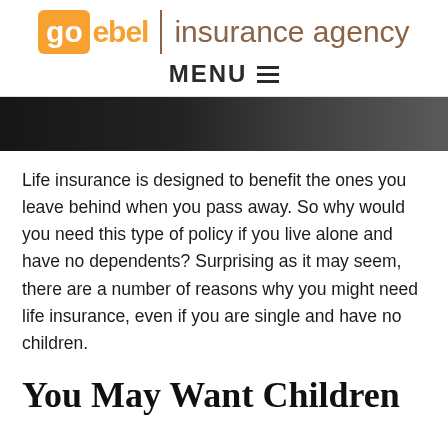goebel | insurance agency
MENU
[Figure (photo): Partial photo of a person, dark background, cropped header image]
Life insurance is designed to benefit the ones you leave behind when you pass away. So why would you need this type of policy if you live alone and have no dependents? Surprising as it may seem, there are a number of reasons why you might need life insurance, even if you are single and have no children.
You May Want Children